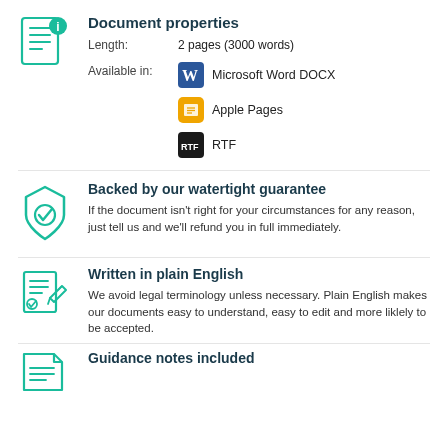Document properties
Length: 2 pages (3000 words)
Available in: Microsoft Word DOCX, Apple Pages, RTF
Backed by our watertight guarantee
If the document isn't right for your circumstances for any reason, just tell us and we'll refund you in full immediately.
Written in plain English
We avoid legal terminology unless necessary. Plain English makes our documents easy to understand, easy to edit and more liklely to be accepted.
Guidance notes included